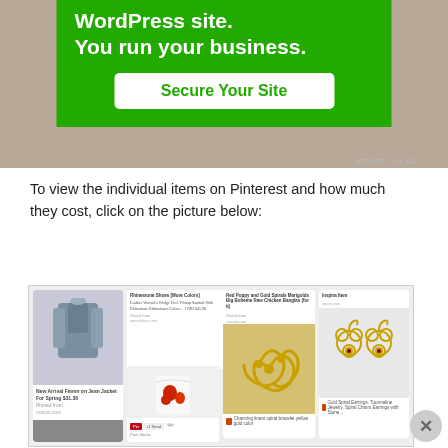[Figure (screenshot): Green WordPress ad banner with text 'WordPress site. You run your business.' and a 'Secure Your Site' button]
To view the individual items on Pinterest and how much they cost, click on the picture below:
[Figure (screenshot): Screenshot of a Pinterest board showing fashion and jewelry items: jean jacket, shoes, floral t-shirt, gold spiral bracelet, gold spiral earrings, and other accessories]
Advertisements
[Figure (screenshot): Dark advertisement banner with logo and text 'Fewer meetings, more work.']